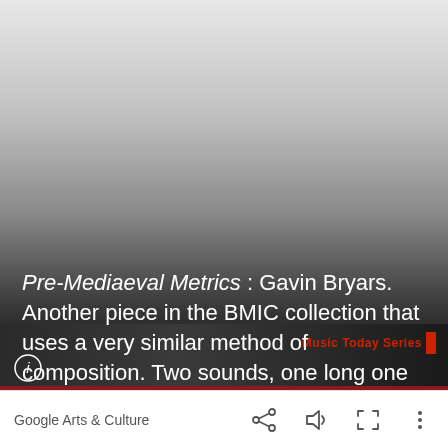[Figure (screenshot): Google Arts & Culture app screenshot showing a gradient background (light grey at top fading to dark/black) with caption text overlay, a partially visible album cover strip at the bottom showing 'Music Today Series', an info icon, and a white toolbar at the very bottom with Google Arts & Culture branding and share/audio/fullscreen/more icons.]
Pre-Mediaeval Metrics : Gavin Bryars. Another piece in the BMIC collection that uses a very similar method of composition. Two sounds, one long one short.
Google Arts & Culture